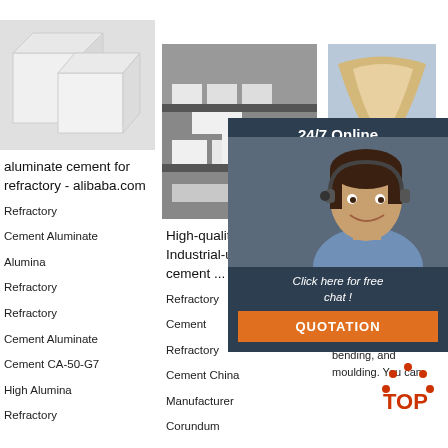[Figure (photo): Two white refractory aluminate cement blocks]
[Figure (photo): High-quality raw pure industrial-use refractory cement products on shelves]
[Figure (photo): Curved beige/cream refractory cement material]
[Figure (infographic): 24/7 Online chat widget with agent photo, click here for free chat text, and QUOTATION button]
aluminate cement for refractory - alibaba.com
Refractory
Cement Aluminate
Alumina
Refractory
Refractory
Cement Aluminate
Cement CA-50-G7
High Alumina
Refractory
High-quality Raw Pure Industrial-use refractory cement ...
Refractory
Cement
Refractory
Cement China
Manufacturer
Corundum
Ceme Refra China Trade China From
A wide cement refractory options are available to you such as cutting, bending, and moulding. You can